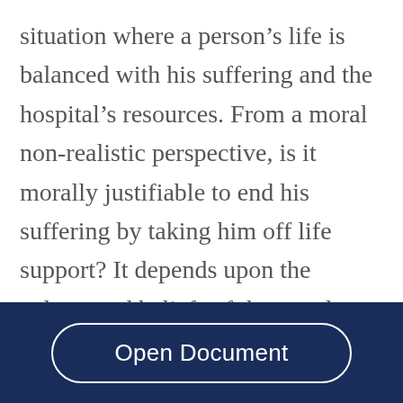situation where a person's life is balanced with his suffering and the hospital's resources. From a moral non-realistic perspective, is it morally justifiable to end his suffering by taking him off life support? It depends upon the culture and beliefs of the people involved. The doctors can argue that mercy killing allows Mr. Smith to die with dignity, rather than force him to continue his life and let him experience the deterioration of his organs. Therefore, in this case euthanasia is
Open Document